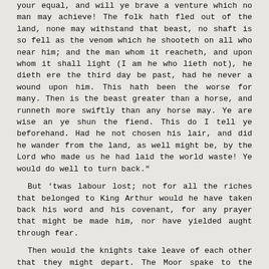your equal, and will ye brave a venture which no man may achieve! The folk hath fled out of the land, none may withstand that beast, no shaft is so fell as the venom which he shooteth on all who near him; and the man whom it reacheth, and upon whom it shall light (I am he who lieth not), he dieth ere the third day be past, had he never a wound upon him. This hath been the worse for many. Then is the beast greater than a horse, and runneth more swiftly than any horse may. Ye are wise an ye shun the fiend. This do I tell ye beforehand. Had he not chosen his lair, and did he wander from the land, as well might be, by the Lord who made us he had laid the world waste! Ye would do well to turn back."
But 'twas labour lost; not for all the riches that belonged to King Arthur would he have taken back his word and his covenant, for any prayer that might be made him, nor have yielded aught through fear.
Then would the knights take leave of each other that they might depart. The Moor spake to the twain: "For what do ye take me? Am I a lesser or a weaker man than either of ye that Sir Gawain must needs ride with me? I will not have it so. There is no knight so bold but I